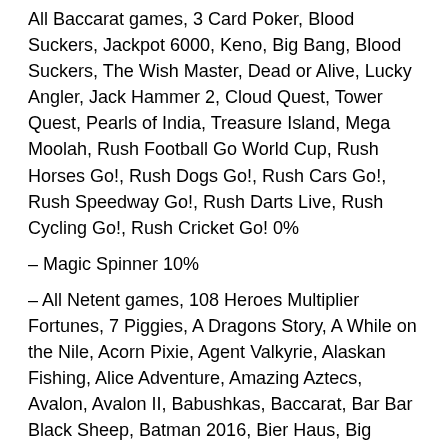All Baccarat games, 3 Card Poker, Blood Suckers, Jackpot 6000, Keno, Big Bang, Blood Suckers, The Wish Master, Dead or Alive, Lucky Angler, Jack Hammer 2, Cloud Quest, Tower Quest, Pearls of India, Treasure Island, Mega Moolah, Rush Football Go World Cup, Rush Horses Go!, Rush Dogs Go!, Rush Cars Go!, Rush Speedway Go!, Rush Darts Live, Rush Cycling Go!, Rush Cricket Go! 0%
– Magic Spinner 10%
– All Netent games, 108 Heroes Multiplier Fortunes, 7 Piggies, A Dragons Story, A While on the Nile, Acorn Pixie, Agent Valkyrie, Alaskan Fishing, Alice Adventure, Amazing Aztecs, Avalon, Avalon II, Babushkas, Baccarat, Bar Bar Black Sheep, Batman 2016, Bier Haus, Big Apple Wins, Big Bad Wolf, Bikini Party, Birds on Wire, Blackjack, Blazin' Hot 7's, Blood Bank, Blood Queen, Bloopers, Bonanza, Booming Seven Deluxe, Booster, Break Da Bank Again, Bridesmaids, Bully4U, Bust The Bank, Candy Cash, Cash Camel, Cash Crazy, Cashapillar, Casino Holdem, Cats, Cherry Bomb Deluxe, Chilli Gold 2, Cheshire Train, Cleopatra, Clue...